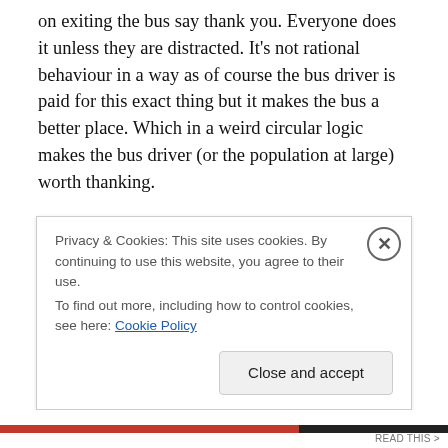on exiting the bus say thank you. Everyone does it unless they are distracted. It's not rational behaviour in a way as of course the bus driver is paid for this exact thing but it makes the bus a better place. Which in a weird circular logic makes the bus driver (or the population at large) worth thanking.
So what if people could change normative behaviours about autism? Stop reflexively supporting Voldemort Speaks because of all that good they supposedly do. Stop believing my life is not valuable. Start doing something as ...
Privacy & Cookies: This site uses cookies. By continuing to use this website, you agree to their use.
To find out more, including how to control cookies, see here: Cookie Policy